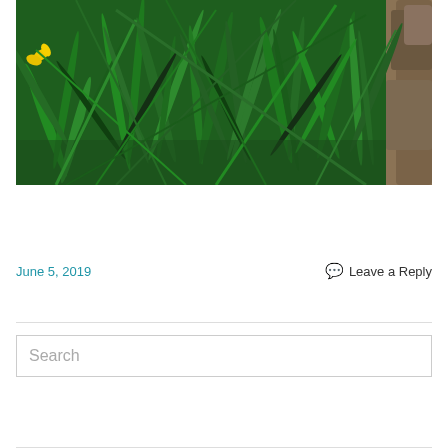[Figure (photo): Close-up photograph of dense green grass-like foliage (likely daylily leaves) with yellow flower blooms visible on the left side and a stone or rock wall visible on the right edge.]
June 5, 2019
Leave a Reply
Search